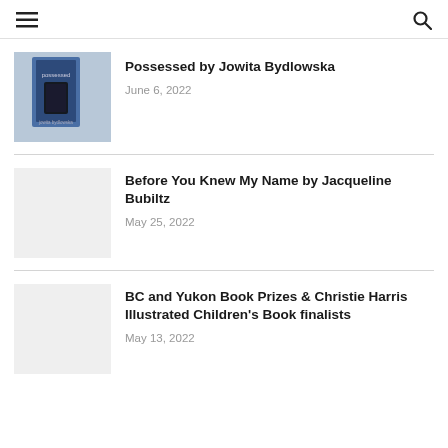≡ [menu] [search]
Possessed by Jowita Bydlowska
June 6, 2022
[Figure (photo): Book cover thumbnail for Possessed by Jowita Bydlowska]
Before You Knew My Name by Jacqueline Bubiltz
May 25, 2022
[Figure (photo): Placeholder thumbnail for Before You Knew My Name]
BC and Yukon Book Prizes & Christie Harris Illustrated Children's Book finalists
May 13, 2022
[Figure (photo): Placeholder thumbnail for BC and Yukon Book Prizes article]